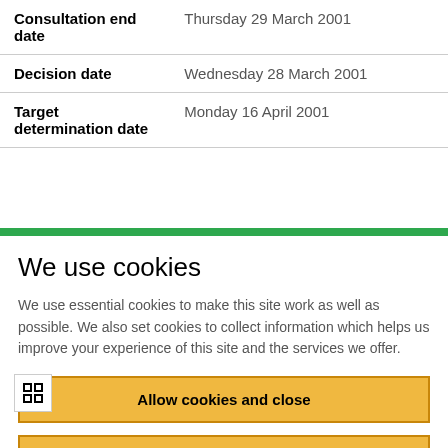| Field | Value |
| --- | --- |
| Consultation end date | Thursday 29 March 2001 |
| Decision date | Wednesday 28 March 2001 |
| Target determination date | Monday 16 April 2001 |
We use cookies
We use essential cookies to make this site work as well as possible. We also set cookies to collect information which helps us improve your experience of this site and the services we offer.
Allow cookies and close
Cookie settings